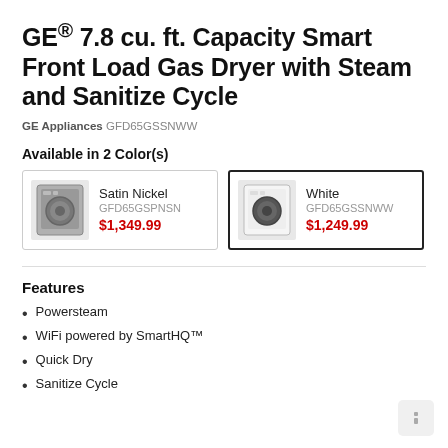GE® 7.8 cu. ft. Capacity Smart Front Load Gas Dryer with Steam and Sanitize Cycle
GE Appliances GFD65GSSNWW
Available in 2 Color(s)
| Color | SKU | Price |
| --- | --- | --- |
| Satin Nickel | GFD65GSPNSN | $1,349.99 |
| White | GFD65GSSNWW | $1,249.99 |
Features
Powersteam
WiFi powered by SmartHQ™
Quick Dry
Sanitize Cycle